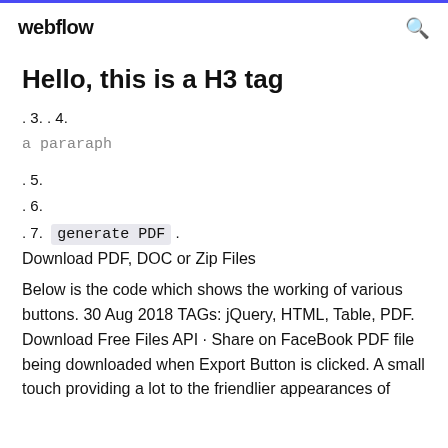webflow  [search icon]
Hello, this is a H3 tag
. 3. . 4.
a pararaph
. 5.
. 6.
. 7.  generate PDF .
Download PDF, DOC or Zip Files
Below is the code which shows the working of various buttons. 30 Aug 2018 TAGs: jQuery, HTML, Table, PDF. Download Free Files API · Share on FaceBook PDF file being downloaded when Export Button is clicked. A small touch providing a lot to the friendlier appearances of